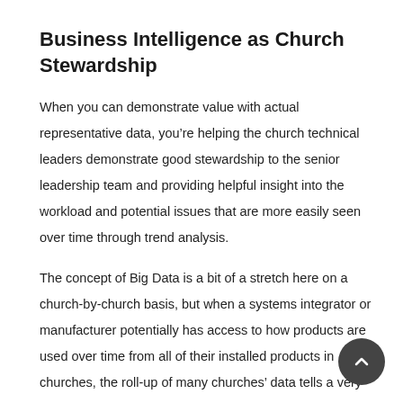Business Intelligence as Church Stewardship
When you can demonstrate value with actual representative data, you’re helping the church technical leaders demonstrate good stewardship to the senior leadership team and providing helpful insight into the workload and potential issues that are more easily seen over time through trend analysis.
The concept of Big Data is a bit of a stretch here on a church-by-church basis, but when a systems integrator or manufacturer potentially has access to how products are used over time from all of their installed products in churches, the roll-up of many churches’ data tells a very helpful s… for understanding maintenance needs/trends as well as… operational lifetime management of a product category or…